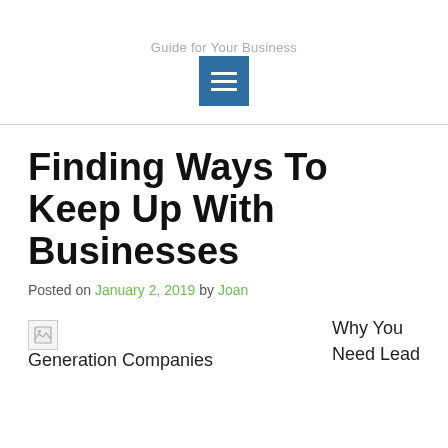Guide for Your Business
[Figure (other): Blue square menu/hamburger icon with three white horizontal lines]
Finding Ways To Keep Up With Businesses
Posted on January 2, 2019 by Joan
[Figure (photo): Broken/missing image placeholder]
Why You Need Lead Generation Companies